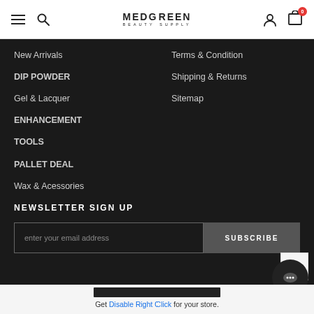MEDGREEN BEAUTY SUPPLY — navigation header with hamburger, search, logo, user icon, and cart (0)
New Arrivals
DIP POWDER
Gel & Lacquer
ENHANCEMENT
TOOLS
PALLET DEAL
Wax & Acessories
Terms & Condition
Shipping & Returns
Sitemap
NEWSLETTER SIGN UP
enter your email address
SUBSCRIBE
Get Disable Right Click for your store.